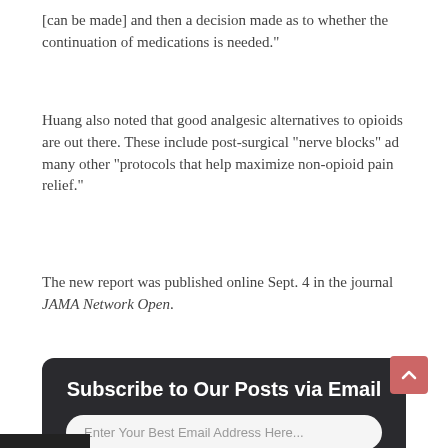[can be made] and then a decision made as to whether the continuation of medications is needed."
Huang also noted that good analgesic alternatives to opioids are out there. These include post-surgical "nerve blocks" ad many other "protocols that help maximize non-opioid pain relief."
The new report was published online Sept. 4 in the journal JAMA Network Open.
[Figure (infographic): Dark rounded box with email subscription call-to-action. Title: 'Subscribe to Our Posts via Email'. Contains an email input field with placeholder text 'Enter Your Best Email Address Here...' and a red Subscribe button.]